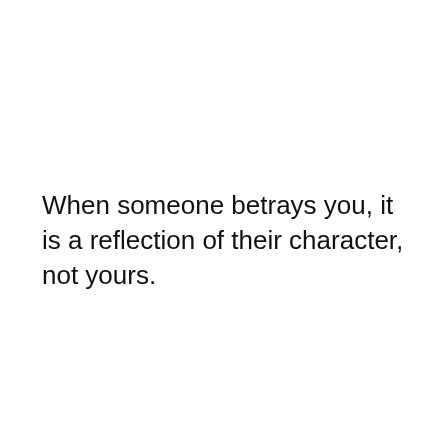When someone betrays you, it is a reflection of their character, not yours.